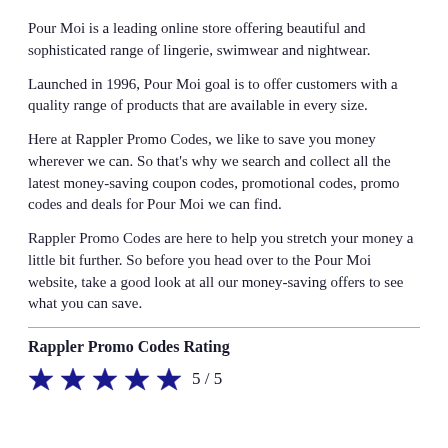Pour Moi is a leading online store offering beautiful and sophisticated range of lingerie, swimwear and nightwear.
Launched in 1996, Pour Moi goal is to offer customers with a quality range of products that are available in every size.
Here at Rappler Promo Codes, we like to save you money wherever we can. So that's why we search and collect all the latest money-saving coupon codes, promotional codes, promo codes and deals for Pour Moi we can find.
Rappler Promo Codes are here to help you stretch your money a little bit further. So before you head over to the Pour Moi website, take a good look at all our money-saving offers to see what you can save.
Rappler Promo Codes Rating
★★★★★  5 / 5